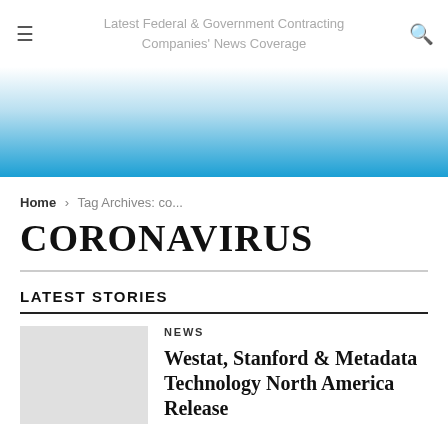Latest Federal & Government Contracting Companies' News Coverage
[Figure (illustration): Blue gradient banner fading from white at top to sky blue at bottom]
Home › Tag Archives: co...
CORONAVIRUS
LATEST STORIES
[Figure (photo): Light gray placeholder image thumbnail]
NEWS
Westat, Stanford & Metadata Technology North America Release